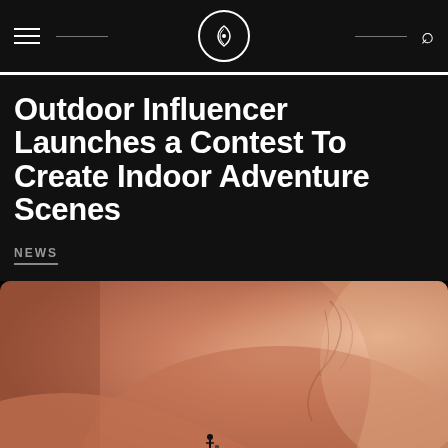Navigation header with hamburger menu, logo, and search icon
Outdoor Influencer Launches a Contest To Create Indoor Adventure Scenes
NEWS
[Figure (photo): Close-up photo of a person with a tattoo on their neck/shoulder area, warm orange-brown tones, small miniature figure visible at bottom]